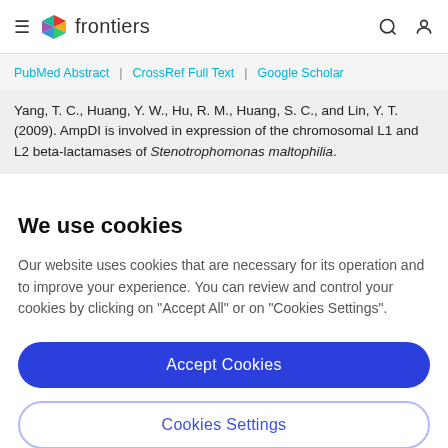≡ frontiers
PubMed Abstract | CrossRef Full Text | Google Scholar
Yang, T. C., Huang, Y. W., Hu, R. M., Huang, S. C., and Lin, Y. T. (2009). AmpDI is involved in expression of the chromosomal L1 and L2 beta-lactamases of Stenotrophomonas maltophilia.
We use cookies
Our website uses cookies that are necessary for its operation and to improve your experience. You can review and control your cookies by clicking on "Accept All" or on "Cookies Settings".
Accept Cookies
Cookies Settings